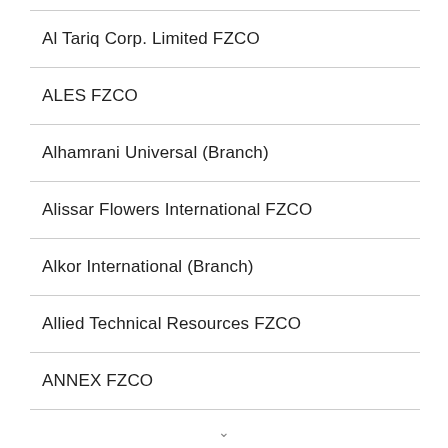| Al Tariq Corp. Limited FZCO |
| ALES FZCO |
| Alhamrani Universal (Branch) |
| Alissar Flowers International FZCO |
| Alkor International (Branch) |
| Allied Technical Resources FZCO |
| ANNEX FZCO |